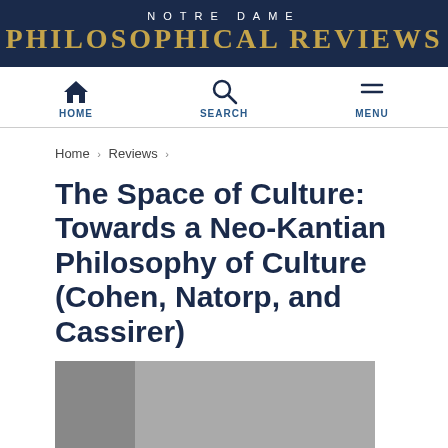NOTRE DAME PHILOSOPHICAL REVIEWS
HOME   SEARCH   MENU
Home › Reviews ›
The Space of Culture: Towards a Neo-Kantian Philosophy of Culture (Cohen, Natorp, and Cassirer)
[Figure (photo): Book cover image with two-tone gray background, partially visible]